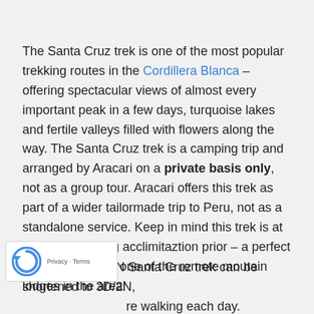The Santa Cruz trek is one of the most popular trekking routes in the Cordillera Blanca – offering spectacular views of almost every important peak in a few days, turquoise lakes and fertile valleys filled with flowers along the way. The Santa Cruz trek is a camping trip and arranged by Aracari on a private basis only, not as a group tour. Aracari offers this trek as part of a wider tailormade trip to Peru, not as a standalone service. Keep in mind this trek is at altitude, requiring acclimitaztion prior – a perfect excuse to stay in one of the remote moutain lodges in the area!
The classic 4D/3N Santa Cruz trek can be shortened to 3D/2N, ...re walking each day. Donkeys can also be hired for ...he trek if you'd prefer less walking. Once fully acclimatized, it's an easy to moderate trek, great for families...